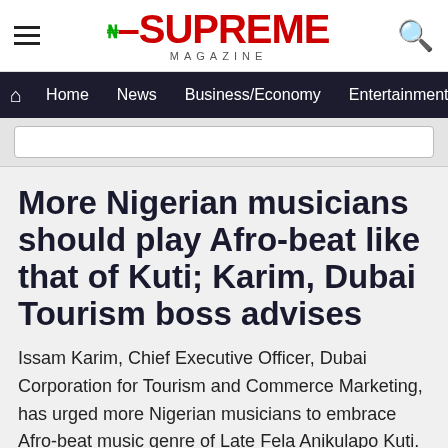Supreme Magazine — Home | News | Business/Economy | Entertainment
More Nigerian musicians should play Afro-beat like that of Kuti; Karim, Dubai Tourism boss advises
Issam Karim, Chief Executive Officer, Dubai Corporation for Tourism and Commerce Marketing, has urged more Nigerian musicians to embrace Afro-beat music genre of Late Fela Anikulapo Kuti.
Karim told the Supreme Magazine in an interview